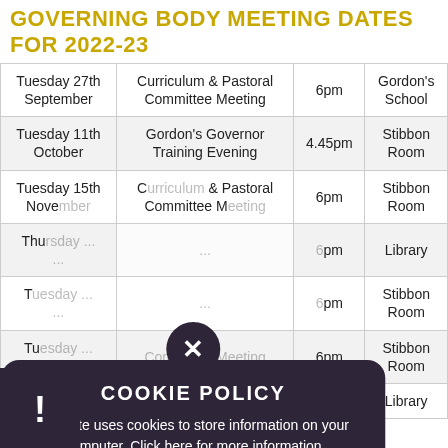GOVERNING BODY MEETING DATES FOR 2022-23
| Date | Meeting | Time | Location |
| --- | --- | --- | --- |
| Tuesday 27th September | Curriculum & Pastoral Committee Meeting | 6pm | Gordon's School |
| Tuesday 11th October | Gordon's Governor Training Evening | 4.45pm | Stibbon Room |
| Tuesday 15th November | Curriculum & Pastoral Committee Meeting | 6pm | Stibbon Room |
| Thursday ... | ... | 6pm | Library |
| Tuesday ... | ... | 6pm | Stibbon Room |
| Tuesday ... March | Committee Meeting | 6pm | Stibbon Room |
| ... | Full ... | ... | Library |
COOKIE POLICY
This site uses cookies to store information on your computer. Click here for more information
[Allow Cookies] [Deny Cookies]